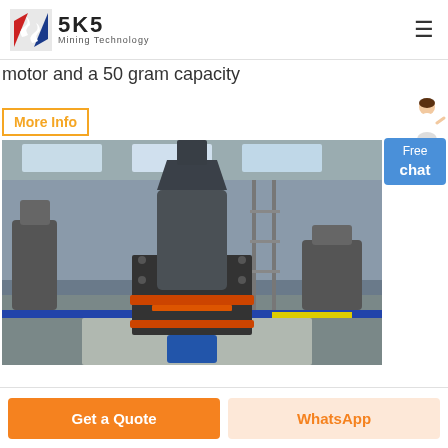SKS Mining Technology
motor and a 50 gram capacity
More Info
[Figure (photo): Industrial mining/crushing machine in a large factory warehouse. A cone crusher or similar heavy machinery is shown in the foreground with various other industrial machines and equipment in the background. The floor has white/grey gravel around the machine.]
Free chat
Get a Quote
WhatsApp